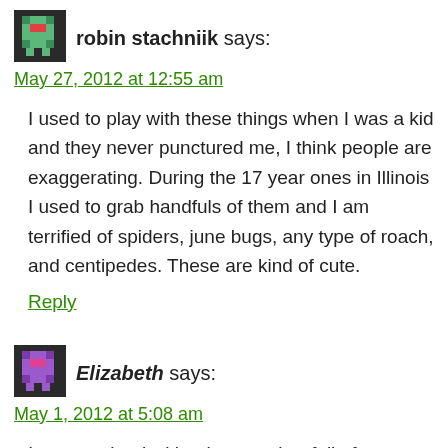[Figure (illustration): Pixel art avatar icon for user robin stachniik, green/teal colored character on dark background]
robin stachniik says:
May 27, 2012 at 12:55 am
I used to play with these things when I was a kid and they never punctured me, I think people are exaggerating. During the 17 year ones in Illinois I used to grab handfuls of them and I am terrified of spiders, june bugs, any type of roach, and centipedes. These are kind of cute.
Reply
[Figure (illustration): Pixel art avatar icon for user Elizabeth, purple/magenta colored character on dark background]
Elizabeth says:
May 1, 2012 at 5:08 am
I am at school with a bug catcher full of cicadas.I have played with these things since I can